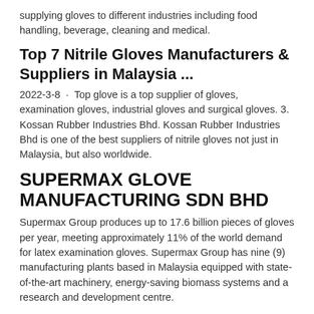supplying gloves to different industries including food handling, beverage, cleaning and medical.
Top 7 Nitrile Gloves Manufacturers & Suppliers in Malaysia ...
2022-3-8 · Top glove is a top supplier of gloves, examination gloves, industrial gloves and surgical gloves. 3. Kossan Rubber Industries Bhd. Kossan Rubber Industries Bhd is one of the best suppliers of nitrile gloves not just in Malaysia, but also worldwide.
SUPERMAX GLOVE MANUFACTURING SDN BHD
Supermax Group produces up to 17.6 billion pieces of gloves per year, meeting approximately 11% of the world demand for latex examination gloves. Supermax Group has nine (9) manufacturing plants based in Malaysia equipped with state-of-the-art machinery, energy-saving biomass systems and a research and development centre.